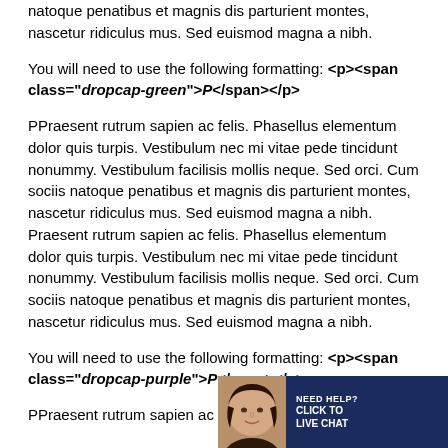natoque penatibus et magnis dis parturient montes, nascetur ridiculus mus. Sed euismod magna a nibh.
You will need to use the following formatting: <p><span class="dropcap-green">P</span></p>
PPraesent rutrum sapien ac felis. Phasellus elementum dolor quis turpis. Vestibulum nec mi vitae pede tincidunt nonummy. Vestibulum facilisis mollis neque. Sed orci. Cum sociis natoque penatibus et magnis dis parturient montes, nascetur ridiculus mus. Sed euismod magna a nibh. Praesent rutrum sapien ac felis. Phasellus elementum dolor quis turpis. Vestibulum nec mi vitae pede tincidunt nonummy. Vestibulum facilisis mollis neque. Sed orci. Cum sociis natoque penatibus et magnis dis parturient montes, nascetur ridiculus mus. Sed euismod magna a nibh.
You will need to use the following formatting: <p><span class="dropcap-purple">P</span></p>
PPraesent rutrum sapien ac felis. Phasellus ele…
[Figure (other): Live chat widget with woman's photo, 'NEED HELP? CLICK TO LIVE CHAT' text on dark blue background]